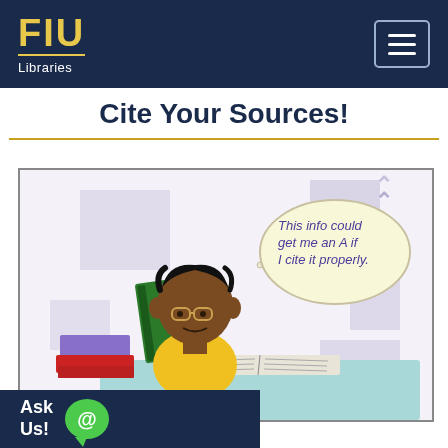FIU Libraries
Cite Your Sources!
[Figure (illustration): Cartoon illustration of a student reading a green book at a desk with stacked books (purple and red). A thought bubble reads: 'This info could get me an A if I cite it properly.' Background has light purple/lavender geometric shapes on a white background.]